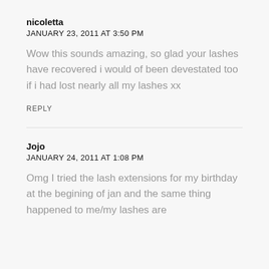nicoletta
JANUARY 23, 2011 AT 3:50 PM
Wow this sounds amazing, so glad your lashes have recovered i would of been devestated too if i had lost nearly all my lashes xx
REPLY
Jojo
JANUARY 24, 2011 AT 1:08 PM
Omg I tried the lash extensions for my birthday at the begining of jan and the same thing happened to me/my lashes are